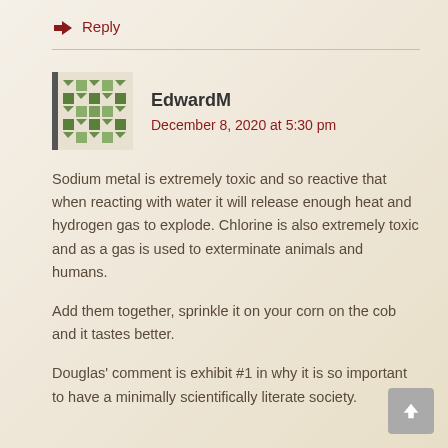↵ Reply
[Figure (illustration): Avatar icon with green geometric quilt-pattern design]
EdwardM
December 8, 2020 at 5:30 pm
Sodium metal is extremely toxic and so reactive that when reacting with water it will release enough heat and hydrogen gas to explode. Chlorine is also extremely toxic and as a gas is used to exterminate animals and humans.
Add them together, sprinkle it on your corn on the cob and it tastes better.
Douglas' comment is exhibit #1 in why it is so important to have a minimally scientifically literate society.